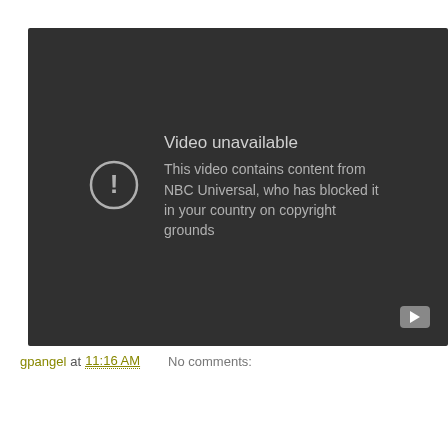[Figure (screenshot): Embedded video player showing a blocked video message: 'Video unavailable. This video contains content from NBC Universal, who has blocked it in your country on copyright grounds.' A YouTube logo button is visible in the bottom-right corner of the player.]
gpangel at 11:16 AM    No comments:
Share